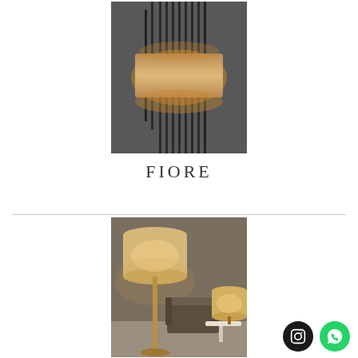[Figure (photo): Wall sconce lamp with vertical black metal rods and a rectangular fabric shade, mounted on a dark grey wall with warm ambient light glow]
FIORE
[Figure (photo): Floor lamp with round cream/beige drum shade on a brass/gold stand beside an armchair, with a matching table lamp on a side table, in a warmly lit interior room]